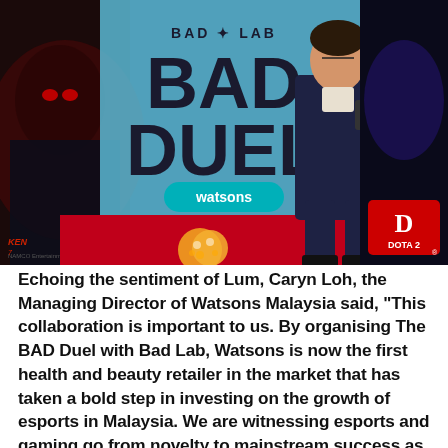[Figure (photo): Photo of a man in a dark suit speaking on stage at the BAD Duel esports event presented by Watsons and Bad Lab. The backdrop shows 'BAD LAB BAD DUEL' branding with Watsons logo, alongside Tekken 7 and Dota 2 game imagery on a red carpet stage with lighting equipment.]
Echoing the sentiment of Lum, Caryn Loh, the Managing Director of Watsons Malaysia said, “This collaboration is important to us. By organising The BAD Duel with Bad Lab, Watsons is now the first health and beauty retailer in the market that has taken a bold step in investing on the growth of esports in Malaysia. We are witnessing esports and gaming go from novelty to mainstream success as players progress from living room amateurs to semi-professional and professional. This is very